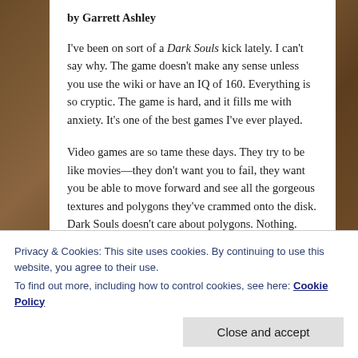by Garrett Ashley
I've been on sort of a Dark Souls kick lately. I can't say why. The game doesn't make any sense unless you use the wiki or have an IQ of 160. Everything is so cryptic. The game is hard, and it fills me with anxiety. It's one of the best games I've ever played.
Video games are so tame these days. They try to be like movies—they don't want you to fail, they want you be able to move forward and see all the gorgeous textures and polygons they've crammed onto the disk. Dark Souls doesn't care about polygons. Nothing.
Privacy & Cookies: This site uses cookies. By continuing to use this website, you agree to their use.
To find out more, including how to control cookies, see here: Cookie Policy